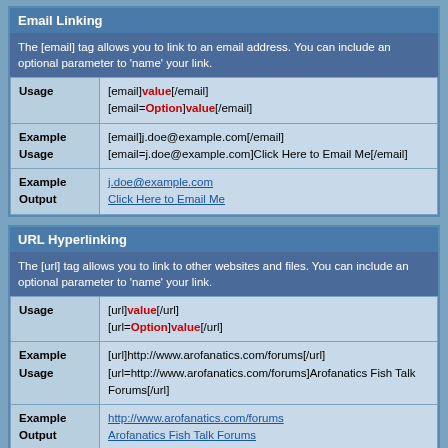Email Linking
The [email] tag allows you to link to an email address. You can include an optional parameter to 'name' your link.
| Usage | [email]value[/email]
[email=Option]value[/email] |
| Example Usage | [email]j.doe@example.com[/email]
[email=j.doe@example.com]Click Here to Email Me[/email] |
| Example Output | j.doe@example.com
Click Here to Email Me |
URL Hyperlinking
The [url] tag allows you to link to other websites and files. You can include an optional parameter to 'name' your link.
| Usage | [url]value[/url]
[url=Option]value[/url] |
| Example Usage | [url]http://www.arofanatics.com/forums[/url]
[url=http://www.arofanatics.com/forums]Arofanatics Fish Talk Forums[/url] |
| Example Output | http://www.arofanatics.com/forums
Arofanatics Fish Talk Forums |